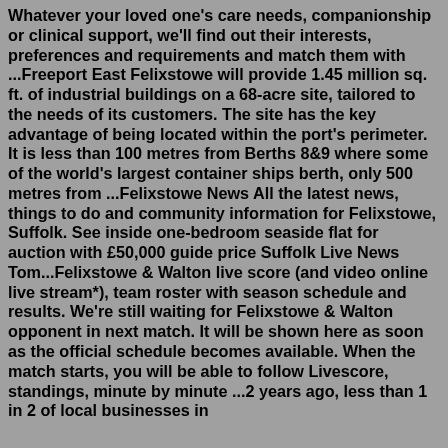Whatever your loved one's care needs, companionship or clinical support, we'll find out their interests, preferences and requirements and match them with ...Freeport East Felixstowe will provide 1.45 million sq. ft. of industrial buildings on a 68-acre site, tailored to the needs of its customers. The site has the key advantage of being located within the port's perimeter. It is less than 100 metres from Berths 8&9 where some of the world's largest container ships berth, only 500 metres from ...Felixstowe News All the latest news, things to do and community information for Felixstowe, Suffolk. See inside one-bedroom seaside flat for auction with £50,000 guide price Suffolk Live News Tom...Felixstowe & Walton live score (and video online live stream*), team roster with season schedule and results. We're still waiting for Felixstowe & Walton opponent in next match. It will be shown here as soon as the official schedule becomes available. When the match starts, you will be able to follow Livescore, standings, minute by minute ...2 years ago, less than 1 in 2 of local businesses in